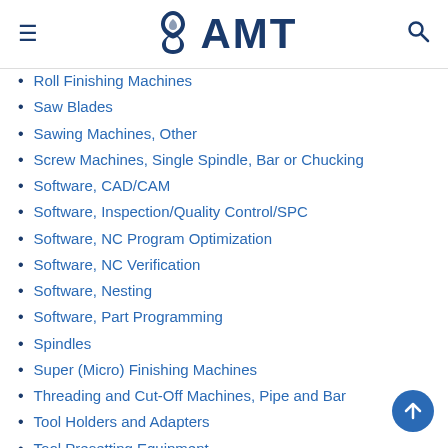AMT
Roll Finishing Machines
Saw Blades
Sawing Machines, Other
Screw Machines, Single Spindle, Bar or Chucking
Software, CAD/CAM
Software, Inspection/Quality Control/SPC
Software, NC Program Optimization
Software, NC Verification
Software, Nesting
Software, Part Programming
Spindles
Super (Micro) Finishing Machines
Threading and Cut-Off Machines, Pipe and Bar
Tool Holders and Adapters
Tool Presetting Equipment
Tool Turrets
Training of All Types, Including Audiovisual
Turn/Mill Machines, CNC
Turning Centers, Horizontal, CNC